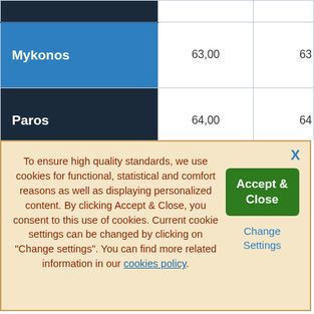|  |  |  |
| --- | --- | --- |
|  |  |  |
| Mykonos | 63,00 | 63 |
| Paros | 64,00 | 64 |
To ensure high quality standards, we use cookies for functional, statistical and comfort reasons as well as displaying personalized content. By clicking Accept & Close, you consent to this use of cookies. Current cookie settings can be changed by clicking on "Change settings". You can find more related information in our cookies policy.